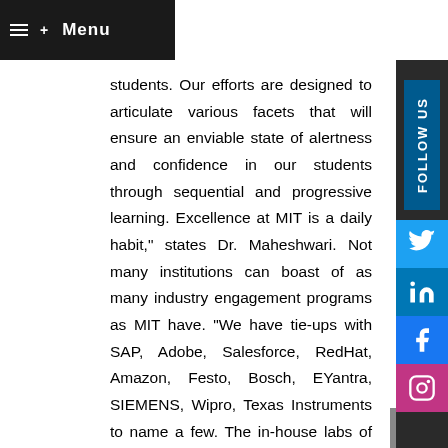Menu
students. Our efforts are designed to articulate various facets that will ensure an enviable state of alertness and confidence in our students through sequential and progressive learning. Excellence at MIT is a daily habit," states Dr. Maheshwari. Not many institutions can boast of as many industry engagement programs as MIT have. "We have tie-ups with SAP, Adobe, Salesforce, RedHat, Amazon, Festo, Bosch, EYantra, SIEMENS, Wipro, Texas Instruments to name a few. The in-house labs of global giants prepare our students from day one to excel in the blue-chip companies," explains Dr. Maheshwari.
MIT was founded in 2007 under another charitable trust Vishnu Education Foundation,